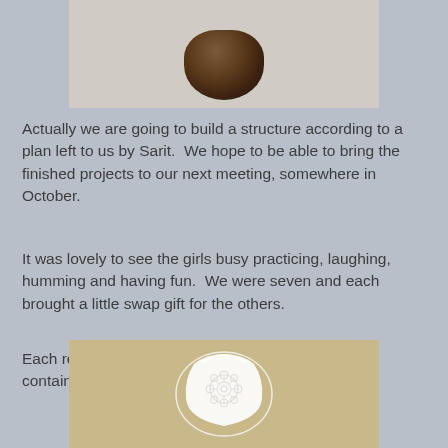[Figure (photo): Partial view of a brown textured object (possibly a crocheted or knitted item) against a light gray/white background, cropped at top]
Actually we are going to build a structure according to a plan left to us by Sarit.  We hope to be able to bring the finished projects to our next meeting, somewhere in October.
It was lovely to see the girls busy practicing, laughing, humming and having fun.  We were seven and each brought a little swap gift for the others.
Each received from me  one decorative flower pot container and an African Violet clay duck pot.
[Figure (photo): White lace or crochet decorative vase/container against a tan/gold background, viewed from above and front]